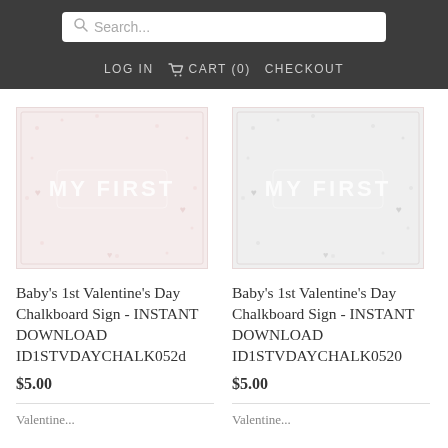Search... | LOG IN | CART (0) | CHECKOUT
[Figure (screenshot): Product thumbnail: Baby's 1st Valentine's Day Chalkboard Sign, pink background with 'MY FIRST' text]
Baby's 1st Valentine's Day Chalkboard Sign - INSTANT DOWNLOAD ID1STVDAYCHALK052d
$5.00
[Figure (screenshot): Product thumbnail: Baby's 1st Valentine's Day Chalkboard Sign, pink background with 'MY FIRST' text]
Baby's 1st Valentine's Day Chalkboard Sign - INSTANT DOWNLOAD ID1STVDAYCHALK0520
$5.00